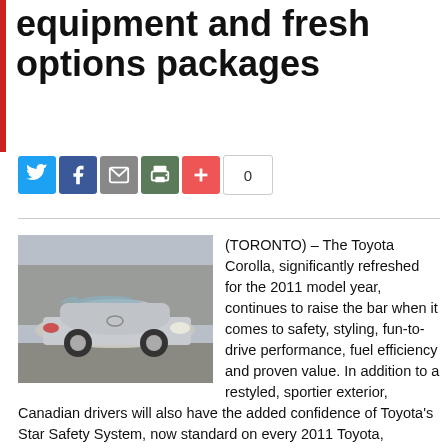equipment and fresh options packages
[Figure (other): Social media sharing buttons: Twitter, Facebook, Email, Print, Plus, and a count badge showing 0]
[Figure (photo): Silver Toyota Corolla sedan parked on a road with trees in the background]
(TORONTO) – The Toyota Corolla, significantly refreshed for the 2011 model year, continues to raise the bar when it comes to safety, styling, fun-to-drive performance, fuel efficiency and proven value. In addition to a restyled, sportier exterior, Canadian drivers will also have the added confidence of Toyota's Star Safety System, now standard on every 2011 Toyota, including Corolla.
“The Corolla remains one of the most trusted and popular vehicles, with over 1 million sold in Canada over more than